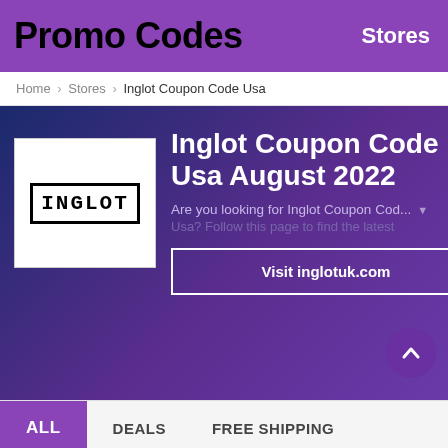Promo Codes   Stores
Home > Stores > Inglot Coupon Code Usa
Inglot Coupon Code Usa August 2022
Are you looking for Inglot Coupon Cod... Usa? Follow this page to find the latest
Visit inglotuk.com
ALL   DEALS   FREE SHIPPING